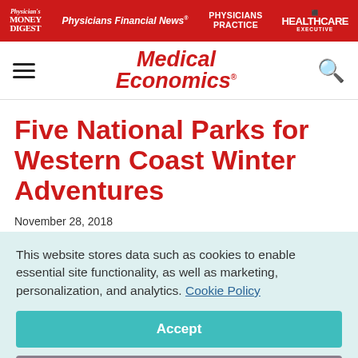Physician's Money Digest | Physicians Financial News | Physicians Practice | HEALTHCARE EXECUTIVE
[Figure (logo): Medical Economics logo and navigation bar with hamburger menu and search icon]
Five National Parks for Western Coast Winter Adventures
November 28, 2018
This website stores data such as cookies to enable essential site functionality, as well as marketing, personalization, and analytics. Cookie Policy
Accept
Deny